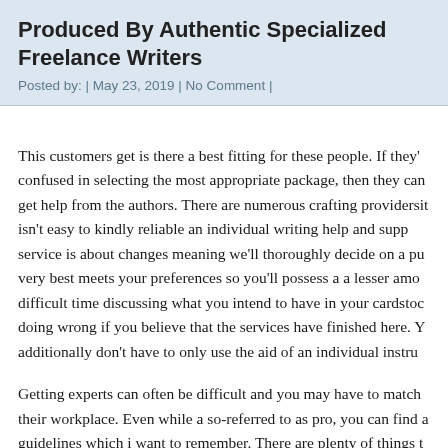Produced By Authentic Specialized Freelance Writers
Posted by: | May 23, 2019 | No Comment |
This customers get is there a best fitting for these people. If they're confused in selecting the most appropriate package, then they can get help from the authors. There are numerous crafting providers it isn't easy to kindly reliable an individual writing help and supp service is about changes meaning we'll thoroughly decide on a pu very best meets your preferences so you'll possess a a lesser amo difficult time discussing what you intend to have in your cardstoc doing wrong if you believe that the services have finished here. Y additionally don't have to only use the aid of an individual instru
Getting experts can often be difficult and you may have to match their workplace. Even while a so-referred to as pro, you can find a guidelines which i want to remember. There are plenty of things t learn from an expert or specialist service as you've received the o